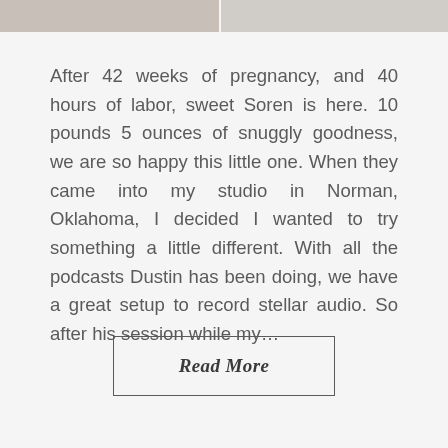[Figure (photo): Two partial photo images at the top of the page — left shows a baby/newborn with soft items on a wooden surface, right shows another newborn photo with dark accessories]
After 42 weeks of pregnancy, and 40 hours of labor, sweet Soren is here. 10 pounds 5 ounces of snuggly goodness, we are so happy this little one. When they came into my studio in Norman, Oklahoma, I decided I wanted to try something a little different. With all the podcasts Dustin has been doing, we have a great setup to record stellar audio. So after his session while my...
Read More